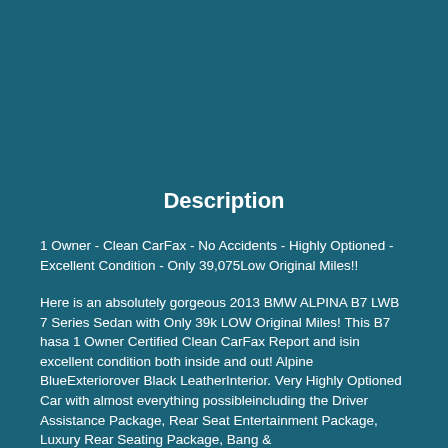Description
1 Owner - Clean CarFax - No Accidents - Highly Optioned - Excellent Condition - Only 39,075Low Original Miles!!
Here is an absolutely gorgeous 2013 BMW ALPINA B7 LWB 7 Series Sedan with Only 39k LOW Original Miles! This B7 hasa 1 Owner Certified Clean CarFax Report and isin excellent condition both inside and out! Alpine BlueExteriorover Black LeatherInterior. Very Highly Optioned Car with almost everything possibleincluding the Driver Assistance Package, Rear Seat Entertainment Package, Luxury Rear Seating Package, Bang &
+ View more..